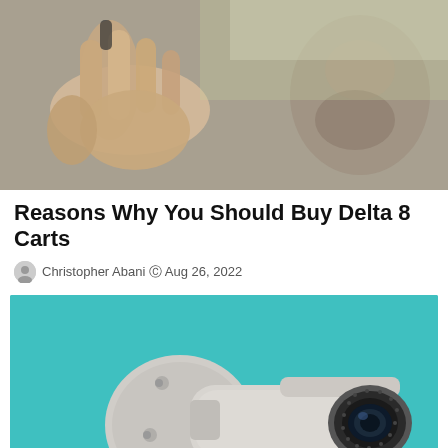[Figure (photo): Close-up photo of a hand holding something small, with a blurred face in the background]
Reasons Why You Should Buy Delta 8 Carts
Christopher Abani © Aug 26, 2022
[Figure (photo): A white bullet security camera mounted on a circular base against a teal/turquoise background]